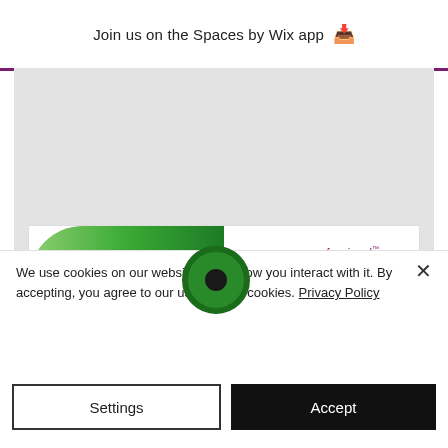Join us on the Spaces by Wix app
[Figure (logo): MNCS Accredited Registrant badge and Professional Standards Authority accredited register badge on a gray background area]
We use cookies on our website to see how you interact with it. By accepting, you agree to our use of such cookies. Privacy Policy
Settings
Accept